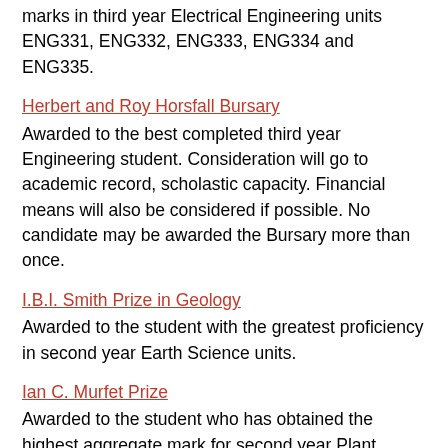marks in third year Electrical Engineering units ENG331, ENG332, ENG333, ENG334 and ENG335.
Herbert and Roy Horsfall Bursary
Awarded to the best completed third year Engineering student. Consideration will go to academic record, scholastic capacity. Financial means will also be considered if possible. No candidate may be awarded the Bursary more than once.
I.B.I. Smith Prize in Geology
Awarded to the student with the greatest proficiency in second year Earth Science units.
Ian C. Murfet Prize
Awarded to the student who has obtained the highest aggregate mark for second year Plant Science major units.
J.N. Baxter Memorial Prize
Awarded for outstanding proficiency in both the practical and theory in Organic Chemistry at a first year level. The recipient must not have previously presented for the